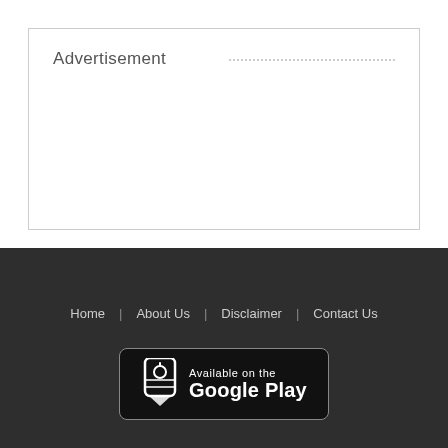Advertisement
Home  About Us  Disclaimer  Contact Us
[Figure (logo): Available on the Google Play badge with tag icon on dark background]